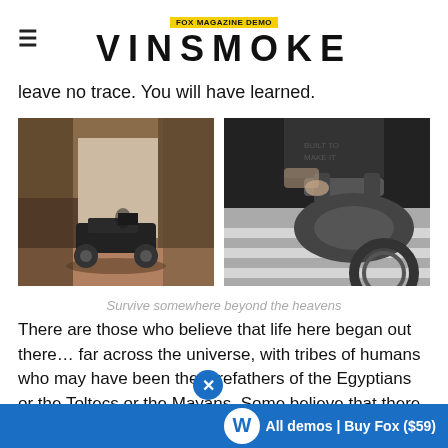FOX MAGAZINE DEMO | VINSMOKE
leave no trace. You will have learned.
[Figure (photo): Motorcycle parked under bridge in urban environment, warm sepia tones]
[Figure (photo): Close-up black and white photo of person on motorcycle handlebar]
Survive somewhere beyond the heavens
There are those who believe that life here began out there… far across the universe, with tribes of humans who may have been the forefathers of the Egyptians or the Toltecs or the Mayans. Some believe that there may yet be brothers of man who even now fight to survive somewhere beyond the heavens. Fleeing from the Cylon Tyranny, the last Battlestar – Galactica – leads a rag-tag fu quest. A shining planet, known a
All demos | Buy Fox ($59)